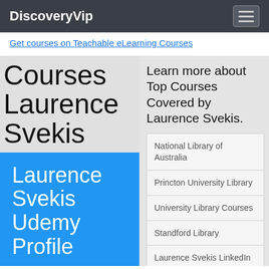DiscoveryVip
Get courses on Teachable eLearning Courses
Courses Laurence Svekis
Laurence Svekis Udemy Profile
Laurence on Packt
Learn more about Top Courses Covered by Laurence Svekis.
National Library of Australia
Princton University Library
University Library Courses
Standford Library
Laurence Svekis LinkedIn
Laurence Svekis Twitter